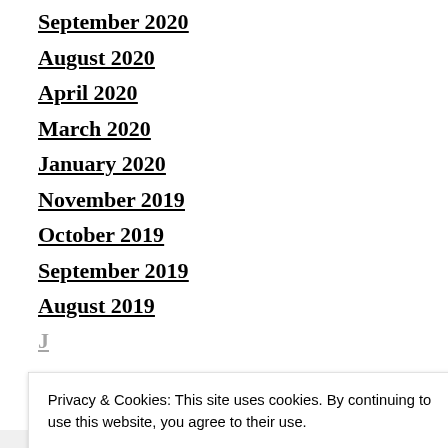September 2020
August 2020
April 2020
March 2020
January 2020
November 2019
October 2019
September 2019
August 2019
Privacy & Cookies: This site uses cookies. By continuing to use this website, you agree to their use. To find out more, including how to control cookies, see here: Cookie Policy
Close and accept